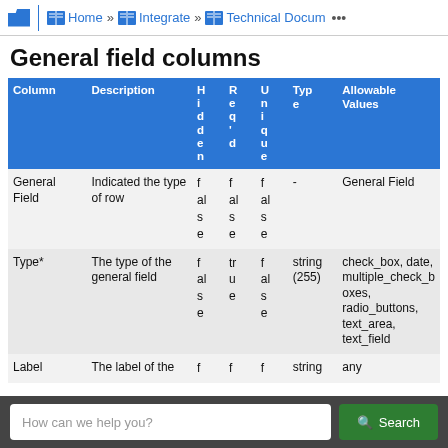Home » Integrate » Technical Documentation
General field columns
| Column | Description | Hidden | Req'd | Unique | Type | Allowable Values |
| --- | --- | --- | --- | --- | --- | --- |
| General Field | Indicated the type of row | false | false | false | - | General Field |
| Type* | The type of the general field | false | true | false | string (255) | check_box, date, multiple_check_boxes, radio_buttons, text_area, text_field |
| Label | The label of the general field | false | false | false | string (255) | any |